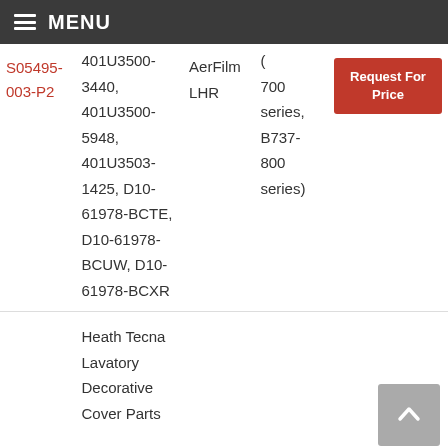MENU
| Part # | Description | Brand | Compatible With | Action |
| --- | --- | --- | --- | --- |
| S05495-003-P2 | 401U3500-3440, 401U3500-5948, 401U3503-1425, D10-61978-BCTE, D10-61978-BCUW, D10-61978-BCXR | AerFilm LHR | (700 series, B737-800 series) | Request For Price |
|  | Heath Tecna Lavatory Decorative Cover Parts |  |  |  |